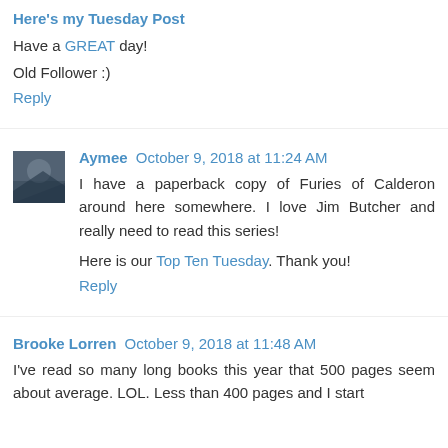Here's my Tuesday Post
Have a GREAT day!
Old Follower :)
Reply
Aymee  October 9, 2018 at 11:24 AM
I have a paperback copy of Furies of Calderon around here somewhere. I love Jim Butcher and really need to read this series!
Here is our Top Ten Tuesday. Thank you!
Reply
Brooke Lorren  October 9, 2018 at 11:48 AM
I've read so many long books this year that 500 pages seem about average. LOL. Less than 400 pages and I start...